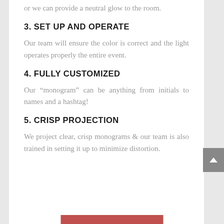or we can provide a neutral glow to the room.
3. SET UP AND OPERATE
Our team will ensure the color is correct and the light operates properly the entire event.
4. FULLY CUSTOMIZED
Our “monogram” can be anything from initials to names and a hashtag!
5. CRISP PROJECTION
We project clear, crisp monograms & our team is also trained in setting it up to minimize distortion.